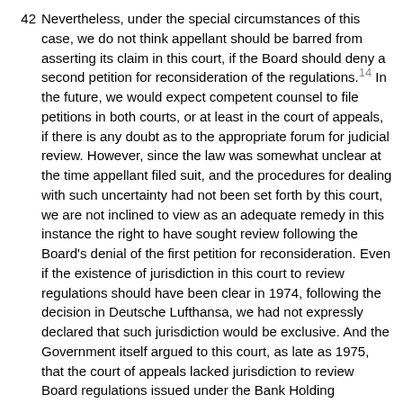42 Nevertheless, under the special circumstances of this case, we do not think appellant should be barred from asserting its claim in this court, if the Board should deny a second petition for reconsideration of the regulations.14 In the future, we would expect competent counsel to file petitions in both courts, or at least in the court of appeals, if there is any doubt as to the appropriate forum for judicial review. However, since the law was somewhat unclear at the time appellant filed suit, and the procedures for dealing with such uncertainty had not been set forth by this court, we are not inclined to view as an adequate remedy in this instance the right to have sought review following the Board's denial of the first petition for reconsideration. Even if the existence of jurisdiction in this court to review regulations should have been clear in 1974, following the decision in Deutsche Lufthansa, we had not expressly declared that such jurisdiction would be exclusive. And the Government itself argued to this court, as late as 1975, that the court of appeals lacked jurisdiction to review Board regulations issued under the Bank Holding Company Act. See Brief for Respondent Board of Governors at 46 n. 17, National Courier Ass'n v. Board of Governors, 170 U.S.App.D.C. 301, 516 F.2d 1229 (1975). If the law was uncertain enough that the agency charged with administration of the Act could argue in good faith that its regulations could not be